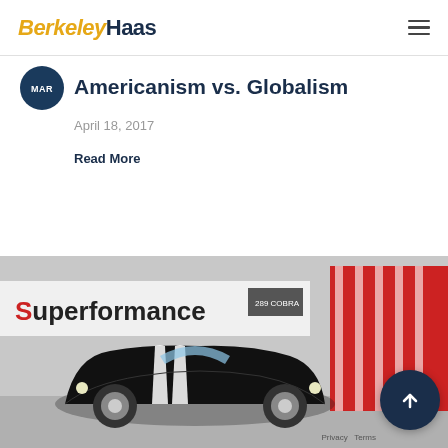Berkeley Haas
[Figure (illustration): Circular avatar/icon with dark blue background and 'MAR' text abbreviation]
Americanism vs. Globalism
April 18, 2017
Read More
[Figure (photo): Interior of a Superformance car dealership/showroom with a black vintage-style sports car (Cobra replica) with white racing stripes parked inside. Red garage doors visible in background.]